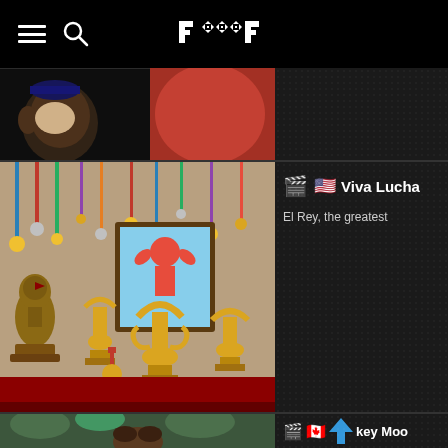FOOFO (logo) — navigation header with hamburger menu and search icon
[Figure (screenshot): Partial thumbnail of animated characters — top of a movie listing row, cropped]
[Figure (screenshot): Thumbnail showing trophy room scene with gold cups and medals on wall, from animated film Viva Lucha]
Viva Lucha
El Rey, the greatest
[Figure (screenshot): Thumbnail showing a monkey in jungle setting, from Monkey Moon]
key Moo
A monkey is casuall